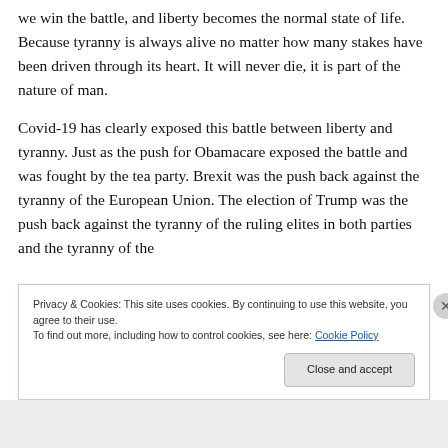we win the battle, and liberty becomes the normal state of life. Because tyranny is always alive no matter how many stakes have been driven through its heart. It will never die, it is part of the nature of man.
Covid-19 has clearly exposed this battle between liberty and tyranny. Just as the push for Obamacare exposed the battle and was fought by the tea party. Brexit was the push back against the tyranny of the European Union. The election of Trump was the push back against the tyranny of the ruling elites in both parties and the tyranny of the
Privacy & Cookies: This site uses cookies. By continuing to use this website, you agree to their use.
To find out more, including how to control cookies, see here: Cookie Policy
Close and accept